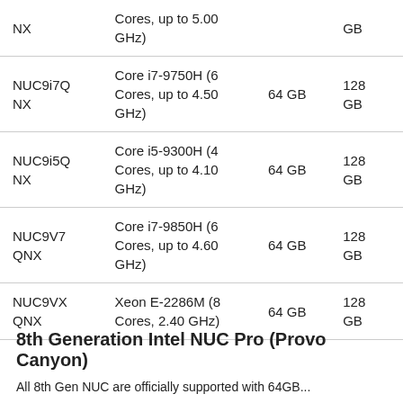| Model | Processor | Max RAM | Max Storage |
| --- | --- | --- | --- |
| NX | Cores, up to 5.00 GHz) |  | GB |
| NUC9i7Q NX | Core i7-9750H (6 Cores, up to 4.50 GHz) | 64 GB | 128 GB |
| NUC9i5Q NX | Core i5-9300H (4 Cores, up to 4.10 GHz) | 64 GB | 128 GB |
| NUC9V7 QNX | Core i7-9850H (6 Cores, up to 4.60 GHz) | 64 GB | 128 GB |
| NUC9VX QNX | Xeon E-2286M (8 Cores, 2.40 GHz) | 64 GB | 128 GB |
8th Generation Intel NUC Pro (Provo Canyon)
All 8th Gen NUC are officially supported with 64GB...